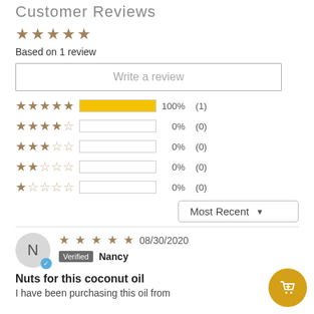Customer Reviews
[Figure (other): 5 filled gold stars]
Based on 1 review
Write a review
[Figure (bar-chart): Rating distribution]
Most Recent
[Figure (other): 5 filled gold stars for review]
08/30/2020
Verified Nancy
Nuts for this coconut oil
I have been purchasing this oil from